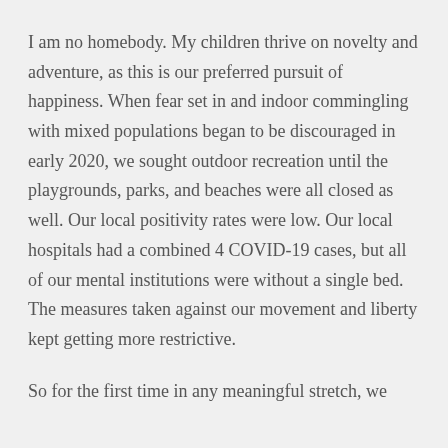I am no homebody. My children thrive on novelty and adventure, as this is our preferred pursuit of happiness. When fear set in and indoor commingling with mixed populations began to be discouraged in early 2020, we sought outdoor recreation until the playgrounds, parks, and beaches were all closed as well. Our local positivity rates were low. Our local hospitals had a combined 4 COVID-19 cases, but all of our mental institutions were without a single bed. The measures taken against our movement and liberty kept getting more restrictive.
So for the first time in any meaningful stretch, we